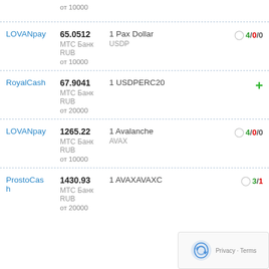| Name | Rate | Crypto | Reviews |
| --- | --- | --- | --- |
|  |  | от 10000 |  |
| LOVANpay | 65.0512
МТС Банк
RUB
от 10000 | 1 Pax Dollar
USDP | 4/0/0 |
| RoyalCash | 67.9041
МТС Банк
RUB
от 20000 | 1 USDPERC20 | + |
| LOVANpay | 1265.22
МТС Банк
RUB
от 10000 | 1 Avalanche
AVAX | 4/0/0 |
| ProstoCash | 1430.93
МТС Банк
RUB
от 20000 | 1 AVAXAVAXC | 3/1... |